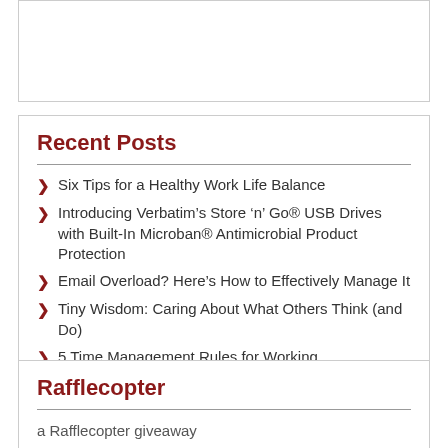Recent Posts
Six Tips for a Healthy Work Life Balance
Introducing Verbatim's Store 'n' Go® USB Drives with Built-In Microban® Antimicrobial Product Protection
Email Overload? Here's How to Effectively Manage It
Tiny Wisdom: Caring About What Others Think (and Do)
5 Time Management Rules for Working
Rafflecopter
a Rafflecopter giveaway